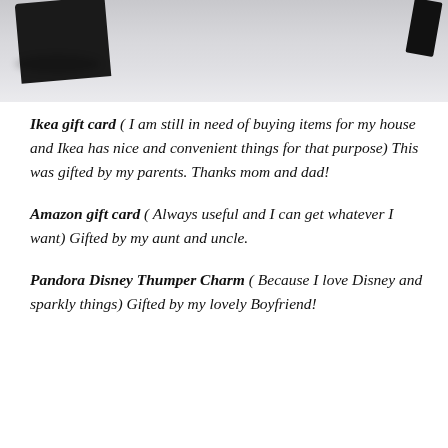[Figure (photo): Partial photo of what appears to be a dark/black object (possibly a gift card or electronic item) on a light grey surface, cropped at the top of the page.]
Ikea gift card ( I am still in need of buying items for my house and Ikea has nice and convenient things for that purpose) This was gifted by my parents. Thanks mom and dad!
Amazon gift card ( Always useful and I can get whatever I want) Gifted by my aunt and uncle.
Pandora Disney Thumper Charm ( Because I love Disney and sparkly things) Gifted by my lovely Boyfriend!